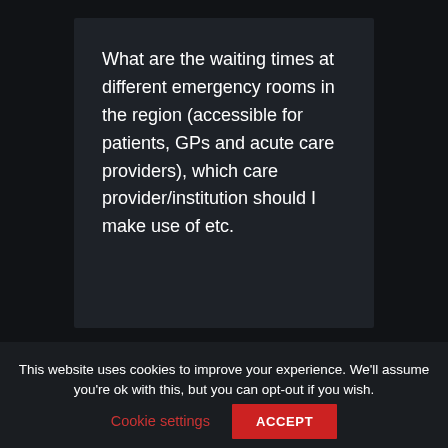What are the waiting times at different emergency rooms in the region (accessible for patients, GPs and acute care providers), which care provider/institution should I make use of etc.
This website uses cookies to improve your experience. We'll assume you're ok with this, but you can opt-out if you wish.
Cookie settings
ACCEPT